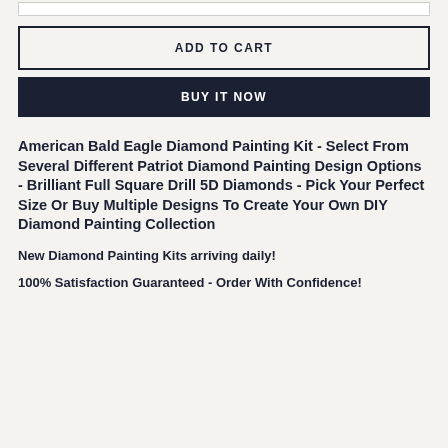[Figure (other): Partial top border of a UI input or image box, cropped at top of page]
ADD TO CART
BUY IT NOW
American Bald Eagle Diamond Painting Kit - Select From Several Different Patriot Diamond Painting Design Options - Brilliant Full Square Drill 5D Diamonds - Pick Your Perfect Size Or Buy Multiple Designs To Create Your Own DIY Diamond Painting Collection
New Diamond Painting Kits arriving daily!
100% Satisfaction Guaranteed - Order With Confidence!